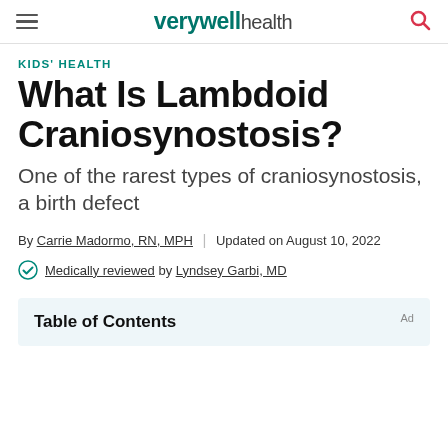verywell health
KIDS' HEALTH
What Is Lambdoid Craniosynostosis?
One of the rarest types of craniosynostosis, a birth defect
By Carrie Madormo, RN, MPH | Updated on August 10, 2022
Medically reviewed by Lyndsey Garbi, MD
Table of Contents